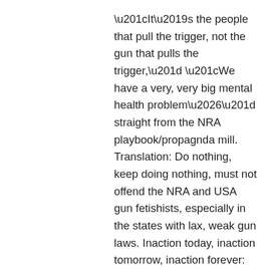“It’s the people that pull the trigger, not the gun that pulls the trigger,” “We have a very, very big mental health problem…” straight from the NRA playbook/propagnda mill. Translation: Do nothing, keep doing nothing, must not offend the NRA and USA gun fetishists, especially in the states with lax, weak gun laws. Inaction today, inaction tomorrow, inaction forever: as regards gun control, sensible gun laws, banning or outlawing semi-automatic assault rifles and high capacity magazines. It’s like being hit in the head with a sledge hammer after each and every massacre. You would have thought that something rational would have been done after the Sandy Hook massacre but obviously no massacre is heinous enough, tragic enough for